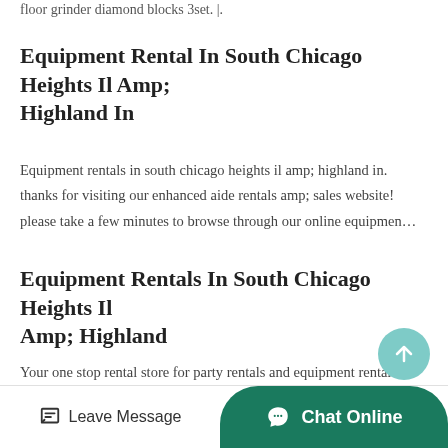floor grinder diamond blocks 3set. |.
Equipment Rental In South Chicago Heights Il Amp; Highland In
Equipment rentals in south chicago heights il amp; highland in. thanks for visiting our enhanced aide rentals amp; sales website! please take a few minutes to browse through our online equipmen…
Equipment Rentals In South Chicago Heights Il Amp; Highland
Your one stop rental store for party rentals and equipment rentals in south chicago heights il amp; highland in. serving south chicago heights il and highland in with equipment rentals and party rental…